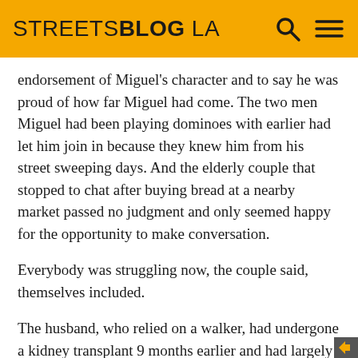STREETSBLOG LA
endorsement of Miguel's character and to say he was proud of how far Miguel had come. The two men Miguel had been playing dominoes with earlier had let him join in because they knew him from his street sweeping days. And the elderly couple that stopped to chat after buying bread at a nearby market passed no judgment and only seemed happy for the opportunity to make conversation.
Everybody was struggling now, the couple said, themselves included.
The husband, who relied on a walker, had undergone a kidney transplant 9 months earlier and had largely been confined to his apartment since then. His wife pointed to her cane and spoke of the pain and